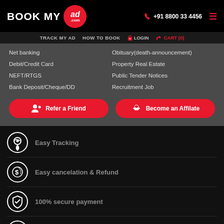BOOK MY ad.com | +91 8800 33 4456 | TRACK MY AD | HOW TO BOOK | LOGIN | CART (0)
Net banking
Obituary(death-announcement)
Debit/Credit Card
Property Real Estate
NEFT/RTGS
Public Tender Notices
Bank Deposit/Cheque/DD
Recruitment Job
[Figure (illustration): Red button: person icon with plus - Refer a Friend]
[Figure (illustration): Red button: handshake icon - Become an Affilate]
[Figure (illustration): White circle icon with steering wheel / location pin - Easy Tracking]
[Figure (illustration): White circle icon with dollar/refund symbol - Easy cancelation & Refund]
[Figure (illustration): White circle icon with shield and checkmark - 100% secure payment]
[Figure (illustration): White circle icon with headphones - 10 AM to 7 PM Customer Support]